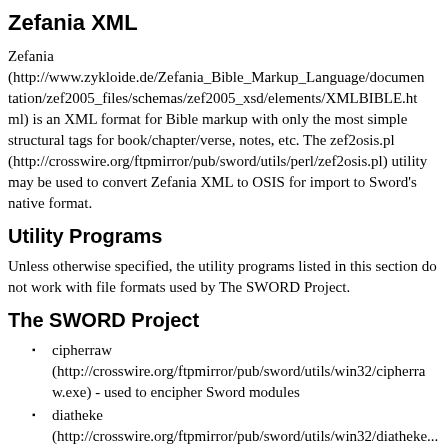Zefania XML
Zefania (http://www.zykloide.de/Zefania_Bible_Markup_Language/documentation/zef2005_files/schemas/zef2005_xsd/elements/XMLBIBLE.html) is an XML format for Bible markup with only the most simple structural tags for book/chapter/verse, notes, etc. The zef2osis.pl (http://crosswire.org/ftpmirror/pub/sword/utils/perl/zef2osis.pl) utility may be used to convert Zefania XML to OSIS for import to Sword's native format.
Utility Programs
Unless otherwise specified, the utility programs listed in this section do not work with file formats used by The SWORD Project.
The SWORD Project
cipherraw (http://crosswire.org/ftpmirror/pub/sword/utils/win32/cipherraw.exe) - used to encipher Sword modules
diatheke (http://crosswire.org/ftpmirror/pub/sword/utils/win32/diatheke...